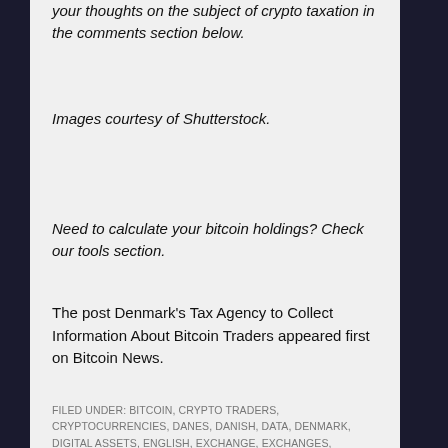your thoughts on the subject of crypto taxation in the comments section below.
Images courtesy of Shutterstock.
Need to calculate your bitcoin holdings? Check our tools section.
The post Denmark's Tax Agency to Collect Information About Bitcoin Traders appeared first on Bitcoin News.
FILED UNDER: BITCOIN, CRYPTO TRADERS, CRYPTOCURRENCIES, DANES, DANISH, DATA, DENMARK, DIGITAL ASSETS, ENGLISH, EXCHANGE, EXCHANGES, FINLAND,